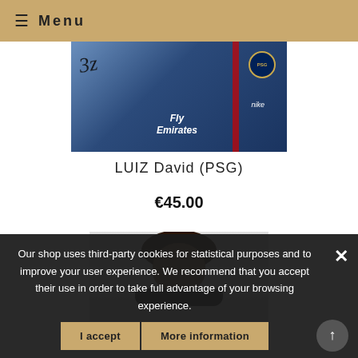≡ Menu
[Figure (photo): Signed photo of David Luiz in PSG (Paris Saint-Germain) blue Fly Emirates jersey with black signature overlay]
LUIZ David (PSG)
€45.00
[Figure (photo): Photo of a player with curly dark hair, partial view showing head and dark top]
Our shop uses third-party cookies for statistical purposes and to improve your user experience. We recommend that you accept their use in order to take full advantage of your browsing experience.
I accept   More information